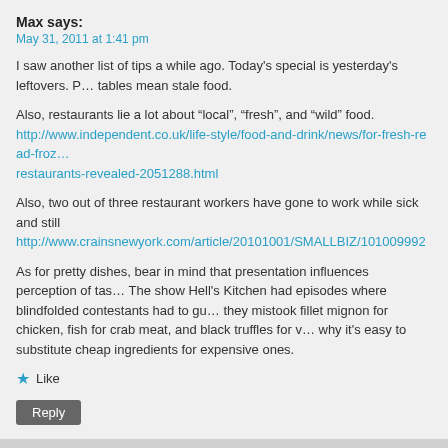Max says:
May 31, 2011 at 1:41 pm
I saw another list of tips a while ago. Today's special is yesterday's leftovers. P… tables mean stale food.
Also, restaurants lie a lot about “local”, “fresh”, and “wild” food.
http://www.independent.co.uk/life-style/food-and-drink/news/for-fresh-read-froz… restaurants-revealed-2051288.html
Also, two out of three restaurant workers have gone to work while sick and still…
http://www.crainsnewyork.com/article/20101001/SMALLBIZ/101009992
As for pretty dishes, bear in mind that presentation influences perception of tas… The show Hell's Kitchen had episodes where blindfolded contestants had to gu… they mistook fillet mignon for chicken, fish for crab meat, and black truffles for v… why it's easy to substitute cheap ingredients for expensive ones.
Like
Reply
Graham says:
May 31, 2011 at 3:01 pm